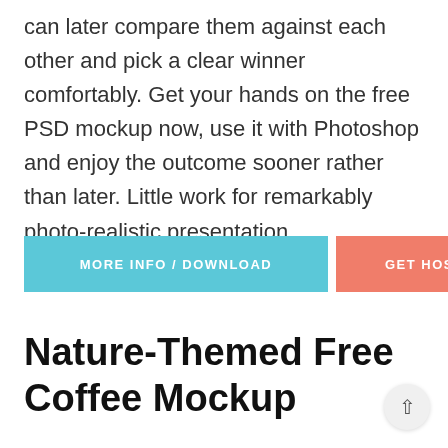can later compare them against each other and pick a clear winner comfortably. Get your hands on the free PSD mockup now, use it with Photoshop and enjoy the outcome sooner rather than later. Little work for remarkably photo-realistic presentation.
MORE INFO / DOWNLOAD | GET HOSTING
Nature-Themed Free Coffee Mockup